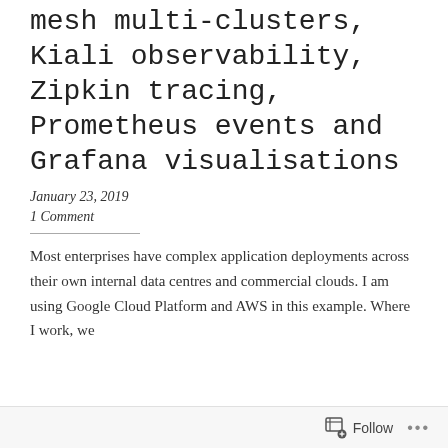mesh multi-clusters, Kiali observability, Zipkin tracing, Prometheus events and Grafana visualisations
January 23, 2019
1 Comment
Most enterprises have complex application deployments across their own internal data centres and commercial clouds. I am using Google Cloud Platform and AWS in this example. Where I work, we
Follow ···